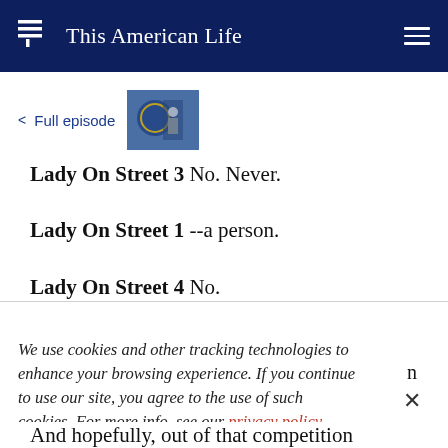This American Life
< Full episode
Lady On Street 3  No. Never.
Lady On Street 1  --a person.
Lady On Street 4  No.
We use cookies and other tracking technologies to enhance your browsing experience. If you continue to use our site, you agree to the use of such cookies. For more info, see our privacy policy.
And hopefully, out of that competition